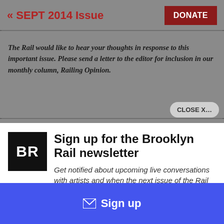« SEPT 2014 Issue
The Rail would like to hear your thoughts in response to this important issue. Please send a letter to the editor for inclusion in our monthly column, Railing Opinion.
Sign up for the Brooklyn Rail newsletter
Get notified about upcoming live conversations with artists and when the next issue of the Rail drops.
Sign up